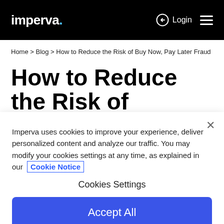imperva   Login ≡
Home > Blog > How to Reduce the Risk of Buy Now, Pay Later Fraud
How to Reduce the Risk of
Imperva uses cookies to improve your experience, deliver personalized content and analyze our traffic. You may modify your cookies settings at any time, as explained in our Cookie Notice
Cookies Settings
Accept All